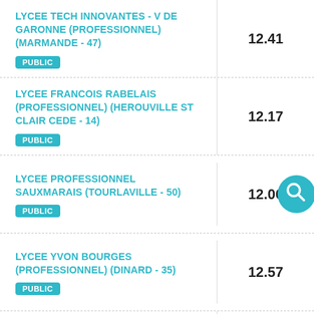| School | Score |
| --- | --- |
| LYCEE TECH INNOVANTES - V DE GARONNE (PROFESSIONNEL) (MARMANDE - 47)
PUBLIC | 12.41 |
| LYCEE FRANCOIS RABELAIS (PROFESSIONNEL) (HEROUVILLE ST CLAIR CEDE - 14)
PUBLIC | 12.17 |
| LYCEE PROFESSIONNEL SAUXMARAIS (TOURLAVILLE - 50)
PUBLIC | 12.06 |
| LYCEE YVON BOURGES (PROFESSIONNEL) (DINARD - 35)
PUBLIC | 12.57 |
| LYCEE PROFESSIONNEL GUSTAVE... |  |